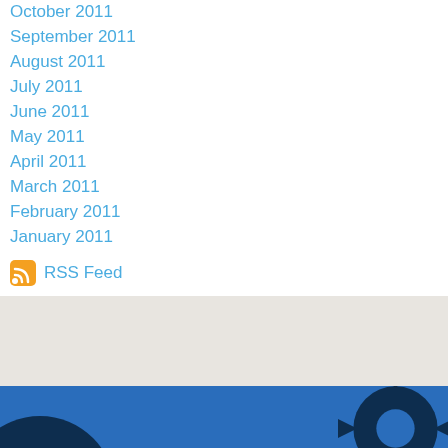October 2011
September 2011
August 2011
July 2011
June 2011
May 2011
April 2011
March 2011
February 2011
January 2011
RSS Feed
[Figure (logo): John Gear Law Office LLC logo with blue background and gear imagery]